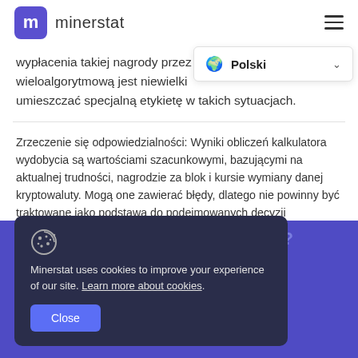minerstat
wypłacenia takiej nagrody przez wieloalgorytmową jest niewielki umieszczać specjalną etykietę w takich sytuacjach.
Polski
Zrzeczenie się odpowiedzialności: Wyniki obliczeń kalkulatora wydobycia są wartościami szacunkowymi, bazującymi na aktualnej trudności, nagrodzie za blok i kursie wymiany danej kryptowaluty. Mogą one zawierać błędy, dlatego nie powinny być traktowane jako podstawa do podejmowanych decyzji inwestycyjnych.
[Figure (screenshot): Cookie consent notice card on dark navy background with cookie icon, text about Minerstat using cookies, link to learn more, and Close button]
Tired of checking by hand?
...tes in real-time